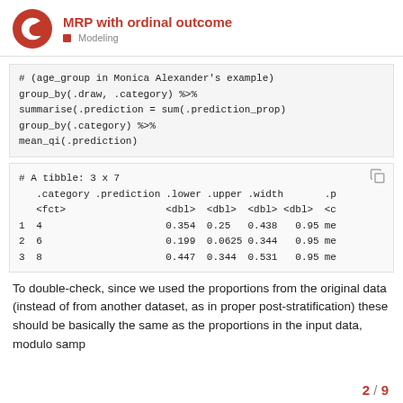MRP with ordinal outcome – Modeling
# (age_group in Monica Alexander's example)
group_by(.draw, .category) %>%
summarise(.prediction = sum(.prediction_prop)
group_by(.category) %>%
mean_qi(.prediction)
# A tibble: 3 x 7
  .category .prediction .lower .upper .width .p
  <fct>                  <dbl>  <dbl>  <dbl> <dbl> <c
1 4                      0.354  0.25   0.438  0.95 me
2 6                      0.199  0.0625 0.344  0.95 me
3 8                      0.447  0.344  0.531  0.95 me
To double-check, since we used the proportions from the original data (instead of from another dataset, as in proper post-stratification) these should be basically the same as the proportions in the input data, modulo samp
2 / 9